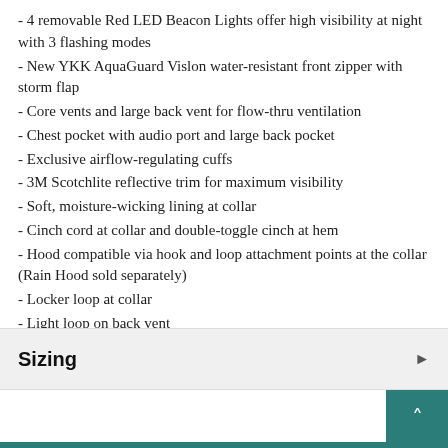- 4 removable Red LED Beacon Lights offer high visibility at night with 3 flashing modes
- New YKK AquaGuard Vislon water-resistant front zipper with storm flap
- Core vents and large back vent for flow-thru ventilation
- Chest pocket with audio port and large back pocket
- Exclusive airflow-regulating cuffs
- 3M Scotchlite reflective trim for maximum visibility
- Soft, moisture-wicking lining at collar
- Cinch cord at collar and double-toggle cinch at hem
- Hood compatible via hook and loop attachment points at the collar (Rain Hood sold separately)
- Locker loop at collar
- Light loop on back vent
- Regular fit
Sizing